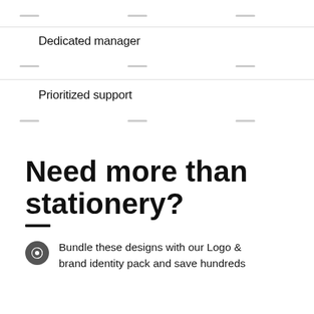Dedicated manager
Prioritized support
Need more than stationery?
Bundle these designs with our Logo & brand identity pack and save hundreds